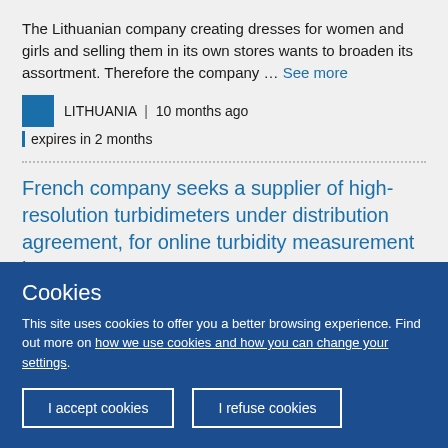The Lithuanian company creating dresses for women and girls and selling them in its own stores wants to broaden its assortment. Therefore the company … See more
LITHUANIA | 10 months ago | expires in 2 months
French company seeks a supplier of high-resolution turbidimeters under distribution agreement, for online turbidity measurement in
Cookies
This site uses cookies to offer you a better browsing experience. Find out more on how we use cookies and how you can change your settings.
I accept cookies | I refuse cookies